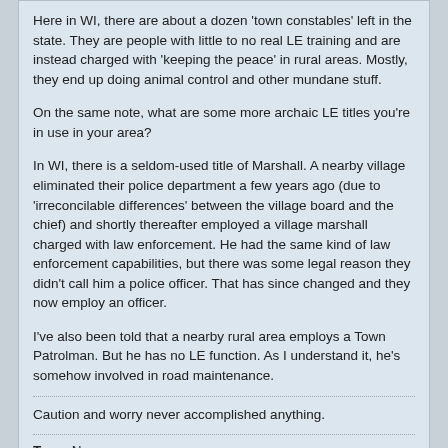Here in WI, there are about a dozen 'town constables' left in the state. They are people with little to no real LE training and are instead charged with 'keeping the peace' in rural areas. Mostly, they end up doing animal control and other mundane stuff.

On the same note, what are some more archaic LE titles you're in use in your area?

In WI, there is a seldom-used title of Marshall. A nearby village eliminated their police department a few years ago (due to 'irreconcilable differences' between the village board and the chief) and shortly thereafter employed a village marshall charged with law enforcement. He had the same kind of law enforcement capabilities, but there was some legal reason they didn't call him a police officer. That has since changed and they now employ an officer.

I've also been told that a nearby rural area employs a Town Patrolman. But he has no LE function. As I understand it, he's somehow involved in road maintenance.
Caution and worry never accomplished anything.
Tags: None
Hawkman
Hawk2051
Join Date: Jan 2004   Posts: 192